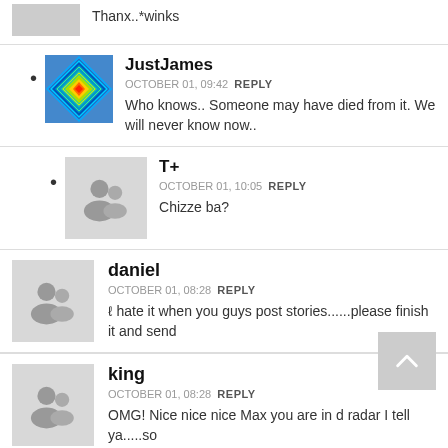[Figure (other): Cropped top comment with grey avatar and text 'Thanx..*winks']
Thanx..*winks
[Figure (other): JustJames avatar - colorful heat map / diamond pattern image]
JustJames
OCTOBER 01, 09:42 REPLY
Who knows.. Someone may have died from it. We will never know now..
T+
OCTOBER 01, 10:05 REPLY
Chizze ba?
daniel
OCTOBER 01, 08:28 REPLY
I hate it when you guys post stories......please finish it and send
king
OCTOBER 01, 08:28 REPLY
OMG! Nice nice nice Max you are in d radar I tell ya.....so